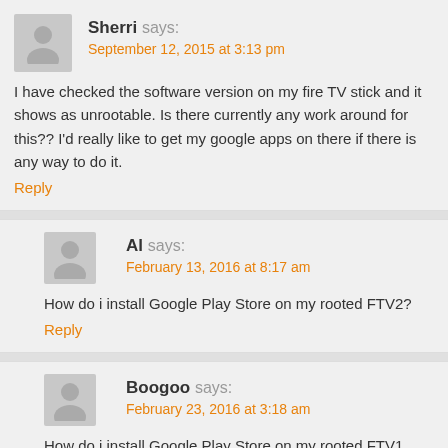Sherri says: September 12, 2015 at 3:13 pm — I have checked the software version on my fire TV stick and it shows as unrootable. Is there currently any work around for this?? I'd really like to get my google apps on there if there is any way to do it.
Reply
Al says: February 13, 2016 at 8:17 am — How do i install Google Play Store on my rooted FTV2?
Reply
Boogoo says: February 23, 2016 at 3:18 am — How do i install Google Play Store on my rooted FTV1 with Software 5.0.5?
Reply